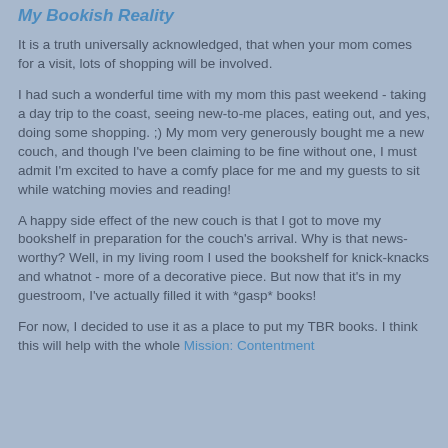My Bookish Reality
It is a truth universally acknowledged, that when your mom comes for a visit, lots of shopping will be involved.
I had such a wonderful time with my mom this past weekend - taking a day trip to the coast, seeing new-to-me places, eating out, and yes, doing some shopping. ;) My mom very generously bought me a new couch, and though I've been claiming to be fine without one, I must admit I'm excited to have a comfy place for me and my guests to sit while watching movies and reading!
A happy side effect of the new couch is that I got to move my bookshelf in preparation for the couch's arrival. Why is that news-worthy? Well, in my living room I used the bookshelf for knick-knacks and whatnot - more of a decorative piece. But now that it's in my guestroom, I've actually filled it with *gasp* books!
For now, I decided to use it as a place to put my TBR books. I think this will help with the whole Mission: Contentment